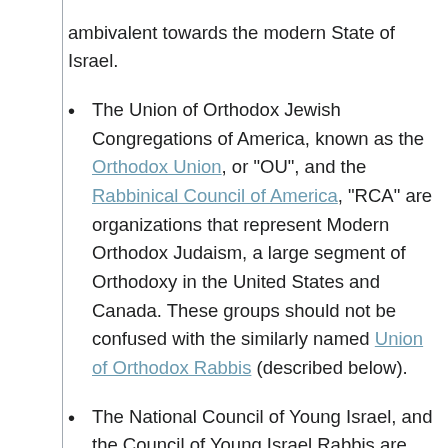ambivalent towards the modern State of Israel.
The Union of Orthodox Jewish Congregations of America, known as the Orthodox Union, or "OU", and the Rabbinical Council of America, "RCA" are organizations that represent Modern Orthodox Judaism, a large segment of Orthodoxy in the United States and Canada. These groups should not be confused with the similarly named Union of Orthodox Rabbis (described below).
The National Council of Young Israel, and the Council of Young Israel Rabbis are smaller groups that were founded as Modern Orthodox organizations. Zionists and